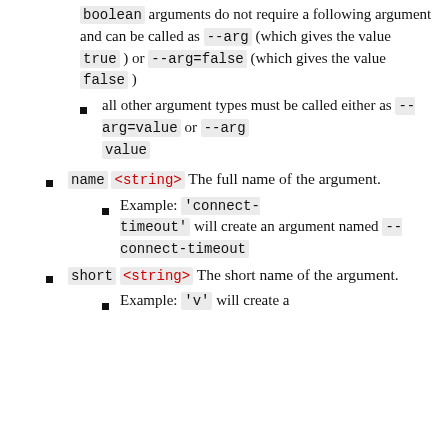boolean arguments do not require a following argument and can be called as --arg (which gives the value true) or --arg=false (which gives the value false)
all other argument types must be called either as --arg=value or --arg value
name <string> The full name of the argument.
Example: 'connect-timeout' will create an argument named --connect-timeout
short <string> The short name of the argument.
Example: 'v' will create a